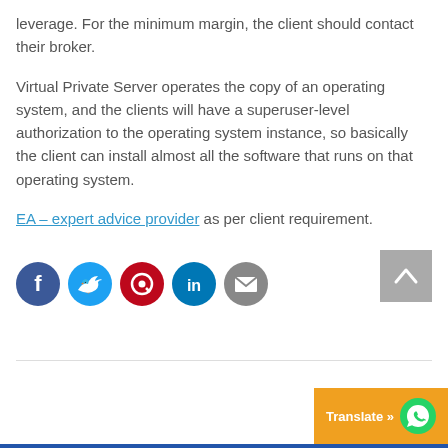leverage. For the minimum margin, the client should contact their broker.
Virtual Private Server operates the copy of an operating system, and the clients will have a superuser-level authorization to the operating system instance, so basically the client can install almost all the software that runs on that operating system.
EA – expert advice provider as per client requirement.
[Figure (infographic): Row of five social media share icons: Facebook (dark blue circle), Twitter (cyan circle), Pinterest (dark red circle), LinkedIn (dark blue circle), Email (grey circle). A grey back-to-top button with upward chevron on the right.]
Translate »